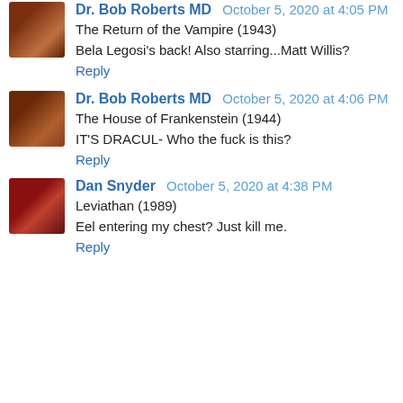Dr. Bob Roberts MD  October 5, 2020 at 4:05 PM
The Return of the Vampire (1943)
Bela Legosi's back! Also starring...Matt Willis?
Reply
Dr. Bob Roberts MD  October 5, 2020 at 4:06 PM
The House of Frankenstein (1944)
IT'S DRACUL- Who the fuck is this?
Reply
Dan Snyder  October 5, 2020 at 4:38 PM
Leviathan (1989)
Eel entering my chest? Just kill me.
Reply